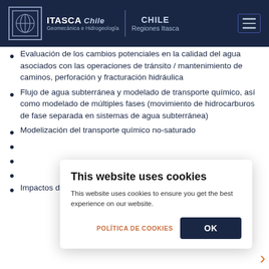ITASCA Chile Geomecánica e Hidrogeología | CHILE Regiones Itasca
Evaluación de los cambios potenciales en la calidad del agua asociados con las operaciones de tránsito / mantenimiento de caminos, perforación y fracturación hidráulica
Flujo de agua subterránea y modelado de transporte químico, así como modelado de múltiples fases (movimiento de hidrocarburos de fase separada en sistemas de agua subterránea)
Modelización del transporte químico no-saturado
(partially hidden)
(partially hidden)
(partially hidden)
Impactos de la fracturación hidráulica en la calidad
This website uses cookies
This website uses cookies to ensure you get the best experience on our website.
POLÍTICA DE COOKIES | OK